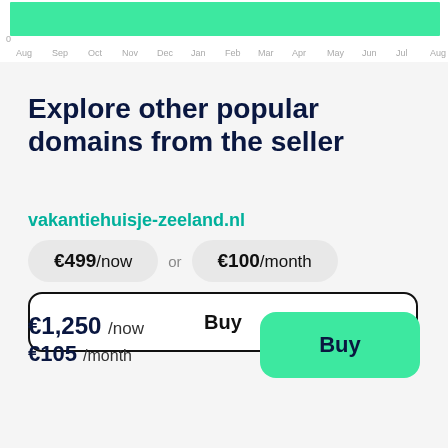[Figure (area-chart): ]
Explore other popular domains from the seller
vakantiehuisje-zeeland.nl
€499/now or €100/month
Buy
€1,250 /now €105 /month
Buy